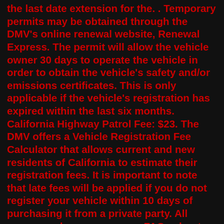the last date extension for the. . Temporary permits may be obtained through the DMV's online renewal website, Renewal Express. The permit will allow the vehicle owner 30 days to operate the vehicle in order to obtain the vehicle's safety and/or emissions certificates. This is only applicable if the vehicle's registration has expired within the last six months. California Highway Patrol Fee: $23. The DMV offers a Vehicle Registration Fee Calculator that allows current and new residents of California to estimate their registration fees. It is important to note that late fees will be applied if you do not register your vehicle within 10 days of purchasing it from a private party. All groups and messages ... .... FAQs about Extended Coverage and Extended LTE. For telephone questions: MVA Customer Service Center: 1-410-768-7000. TTY/Hearing Impaired: 1-301-729-4563. I purchased a vehicle that has not been safety inspected in Maryland. Can I obtain a temporary registration in order to drive the vehicle to an inspection station? Yes, if you have a title for the vehicle, or are applying for